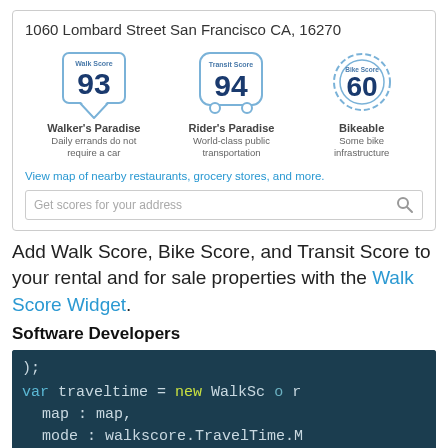[Figure (screenshot): Walk Score widget showing 1060 Lombard Street San Francisco CA, 16270 with Walk Score 93 (Walker's Paradise), Transit Score 94 (Rider's Paradise), Bike Score 60 (Bikeable), a map link, and address search bar]
Add Walk Score, Bike Score, and Transit Score to your rental and for sale properties with the Walk Score Widget.
Software Developers
[Figure (screenshot): Code screenshot showing JavaScript code with var traveltime = new WalkSo... map: map, mode: walkscore.TravelTime.M]